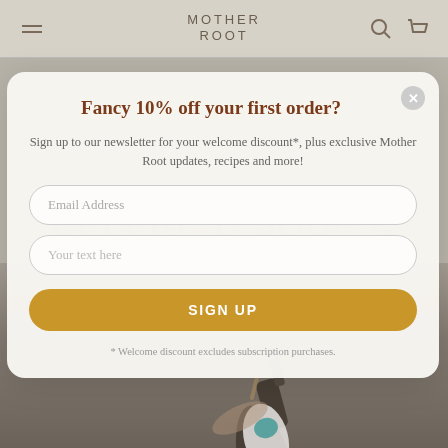MOTHER ROOT
[Figure (screenshot): Website screenshot of Mother Root with navigation bar, background text 'CELERIAC SOUR & LEMONGRASS COCKTAIL', date 'NOVEMBER 2021', and a product photo of a dark bottle being poured]
Fancy 10% off your first order?
Sign up to our newsletter for your welcome discount*, plus exclusive Mother Root updates, recipes and more!
Email Address
Your text here
SIGN UP
* Welcome discount excludes subscription purchases.